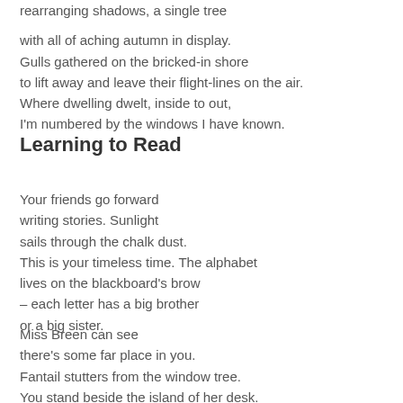rearranging shadows, a single tree

with all of aching autumn in display.
Gulls gathered on the bricked-in shore
to lift away and leave their flight-lines on the air.
Where dwelling dwelt, inside to out,
I'm numbered by the windows I have known.
Learning to Read
Your friends go forward
writing stories. Sunlight
sails through the chalk dust.
This is your timeless time. The alphabet
lives on the blackboard's brow
– each letter has a big brother
or a big sister.
Miss Breen can see
there's some far place in you.
Fantail stutters from the window tree.
You stand beside the island of her desk.
You friend her and she
Your friends go forward